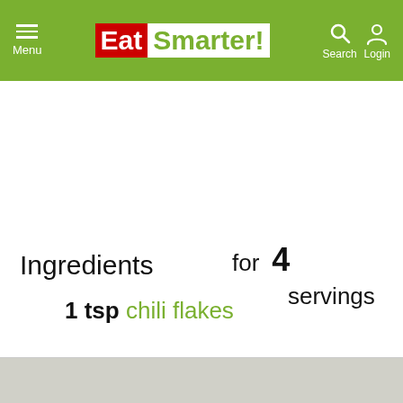Menu | EatSmarter! | Search | Login
Ingredients
for 4 servings
1 tsp chili flakes